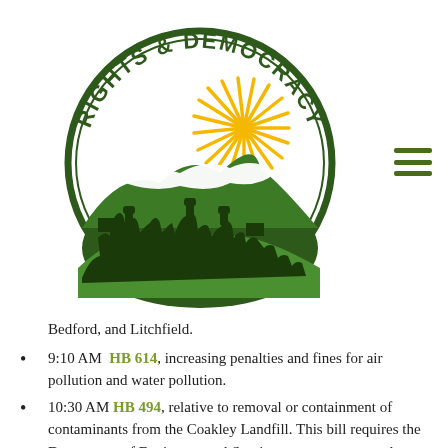[Figure (logo): Rights & Democracy organization logo: circular emblem with green border, text 'RIGHTS & DEMOCRACY' around the top, golden sun rays, mountain silhouette with white cloud, and crowd of people with raised fists and signs at bottom.]
Bedford, and Litchfield.
9:10 AM  HB 614, increasing penalties and fines for air pollution and water pollution.
10:30 AM  HB 494, relative to removal or containment of contaminants from the Coakley Landfill. This bill requires the Department of Environmental Services to pursue a remedy regarding the removal or containment of contaminants from the Coakley Landfill and …